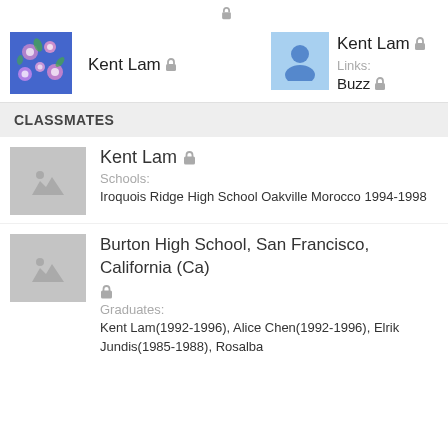[Figure (screenshot): Top lock icon centered at top of page]
Kent Lam 🔒
[Figure (photo): Floral avatar image for Kent Lam]
[Figure (photo): Blue default avatar for Kent Lam profile]
Kent Lam 🔒
Links:
Buzz 🔒
CLASSMATES
[Figure (photo): Gray placeholder image thumbnail]
Kent Lam 🔒
Schools:
Iroquois Ridge High School Oakville Morocco 1994-1998
[Figure (photo): Gray placeholder image thumbnail]
Burton High School, San Francisco, California (Ca) 🔒
Graduates:
Kent Lam(1992-1996), Alice Chen(1992-1996), Elrik Jundis(1985-1988), Rosalba